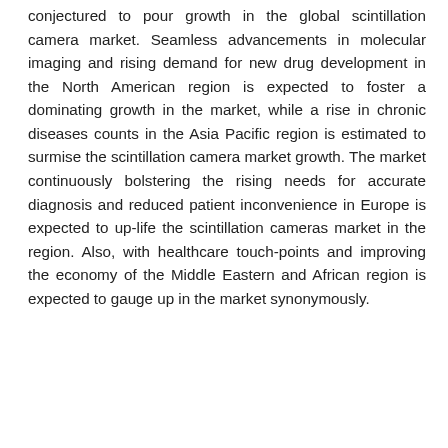conjectured to pour growth in the global scintillation camera market. Seamless advancements in molecular imaging and rising demand for new drug development in the North American region is expected to foster a dominating growth in the market, while a rise in chronic diseases counts in the Asia Pacific region is estimated to surmise the scintillation camera market growth. The market continuously bolstering the rising needs for accurate diagnosis and reduced patient inconvenience in Europe is expected to up-life the scintillation cameras market in the region. Also, with healthcare touch-points and improving the economy of the Middle Eastern and African region is expected to gauge up in the market synonymously.